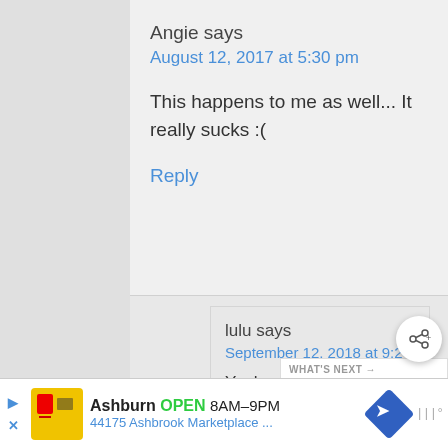Angie says
August 12, 2017 at 5:30 pm
This happens to me as well... It really sucks :(
Reply
lulu says
September 12, 2018 at 9:2...
Yeah me too.
Ashburn OPEN 8AM–9PM 44175 Ashbrook Marketplace ...